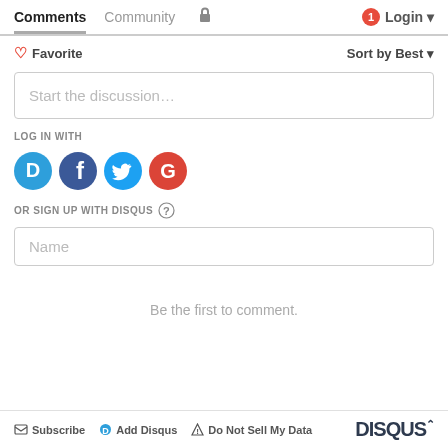Comments  Community  Login
♡ Favorite    Sort by Best ▾
Start the discussion…
LOG IN WITH
[Figure (logo): Four social login icons: Disqus (blue), Facebook (dark blue), Twitter (light blue), Google (red)]
OR SIGN UP WITH DISQUS ?
Name
Be the first to comment.
Subscribe  Add Disqus  Do Not Sell My Data  DISQUS